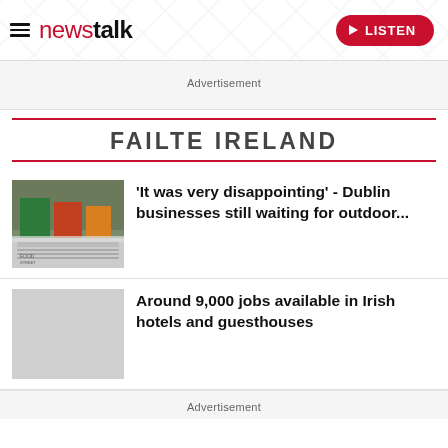newstalk — LISTEN button
Advertisement
FAILTE IRELAND
'It was very disappointing' - Dublin businesses still waiting for outdoor...
Around 9,000 jobs available in Irish hotels and guesthouses
Advertisement